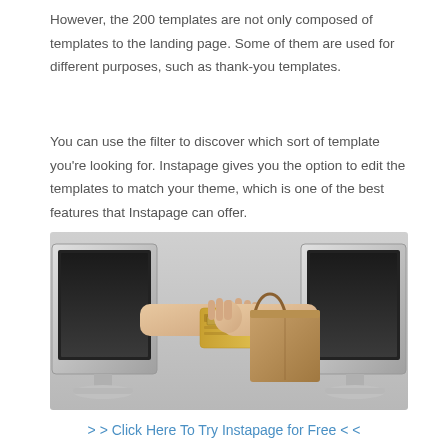However, the 200 templates are not only composed of templates to the landing page. Some of them are used for different purposes, such as thank-you templates.
You can use the filter to discover which sort of template you're looking for. Instapage gives you the option to edit the templates to match your theme, which is one of the best features that Instapage can offer.
[Figure (photo): Illustration of two computer monitors facing each other. A hand from the left monitor extends a gold credit card, and a hand from the right monitor holds a brown paper shopping bag, depicting online e-commerce transaction.]
> > Click Here To Try Instapage for Free < <